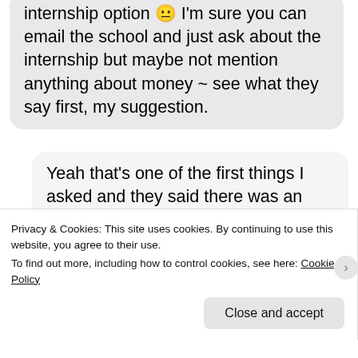internship option 😐 I'm sure you can email the school and just ask about the internship but maybe not mention anything about money ~ see what they say first, my suggestion.
Yeah that's one of the first things I asked and they said there was an option but didn't mention anything about it costing extra, so it might just be in the fee we're paying but I will double
Privacy & Cookies: This site uses cookies. By continuing to use this website, you agree to their use.
To find out more, including how to control cookies, see here: Cookie Policy
Close and accept